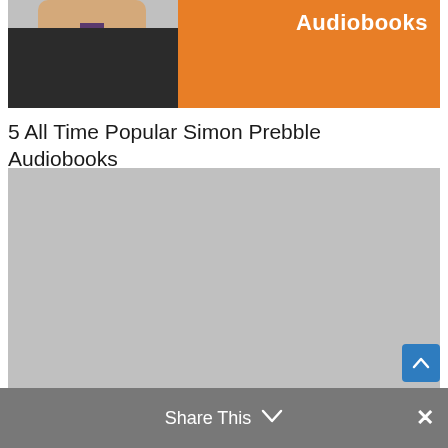[Figure (photo): Top banner image showing a man in a dark suit with striped shirt and purple tie on the left, and an orange background with 'Audiobooks' text in white on the right]
5 All Time Popular Simon Prebble Audiobooks
[Figure (photo): Large placeholder image (gray rectangle), likely a book cover or promotional image]
Share This ∨ ×